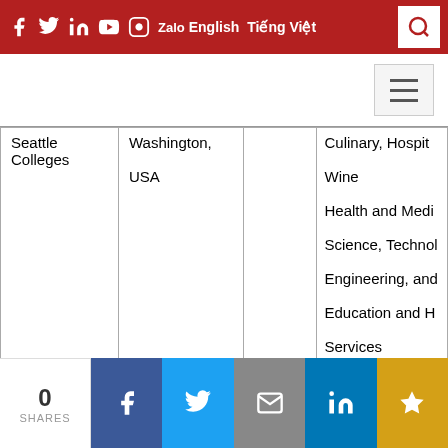Social media icons, English, Tiếng Việt language switcher, search button
| Institution | Location |  | Programs |
| --- | --- | --- | --- |
| Seattle Colleges | Washington, USA |  | Culinary, Hospit...
Wine
Health and Medi...
Science, Techno...
Engineering, and...
Education and H...
Services
Social Sciences,
Humanities, and
Language |
|  |  |  | Business -
Engineering |
0 SHARES | Facebook | Twitter | Email | LinkedIn | Star